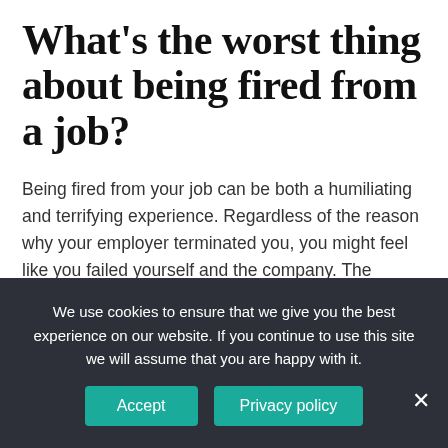What's the worst thing about being fired from a job?
Being fired from your job can be both a humiliating and terrifying experience. Regardless of the reason why your employer terminated you, you might feel like you failed yourself and the company. The terrifying part comes from the fear that you'll never get another job.
Then that employees need to play their cards right
We use cookies to ensure that we give you the best experience on our website. If you continue to use this site we will assume that you are happy with it.
Accept
Privacy policy